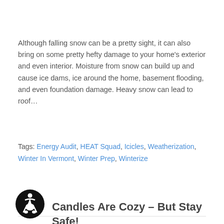Although falling snow can be a pretty sight, it can also bring on some pretty hefty damage to your home's exterior and even interior. Moisture from snow can build up and cause ice dams, ice around the home, basement flooding, and even foundation damage. Heavy snow can lead to roof...
Tags: Energy Audit, HEAT Squad, Icicles, Weatherization, Winter In Vermont, Winter Prep, Winterize
MORE
[Figure (illustration): Accessibility icon — black circle with white wheelchair user symbol]
Candles Are Cozy – But Stay Safe!